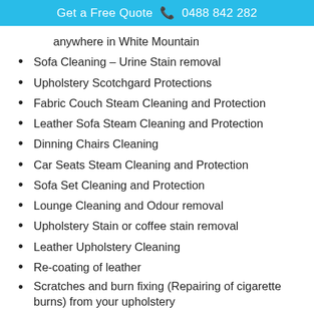Get a Free Quote  📞 0488 842 282
anywhere in White Mountain
Sofa Cleaning – Urine Stain removal
Upholstery Scotchgard Protections
Fabric Couch Steam Cleaning and Protection
Leather Sofa Steam Cleaning and Protection
Dinning Chairs Cleaning
Car Seats Steam Cleaning and Protection
Sofa Set Cleaning and Protection
Lounge Cleaning and Odour removal
Upholstery Stain or coffee stain removal
Leather Upholstery Cleaning
Re-coating of leather
Scratches and burn fixing (Repairing of cigarette burns) from your upholstery
Re-dyeing of leather
EMU Upholstery Cleaning White Mountain – a name